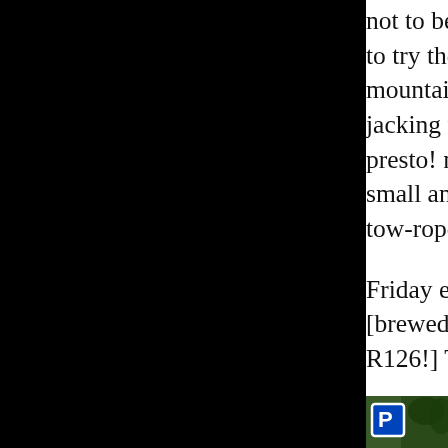not to be viable options so we bought some new ones at €35. David decided he needed to try them on, as this was him, and to struggle under freezing conditions with frost- mountain pass in a blizzard, was not a pleasant thought. them behind the wheel without jacking the car up, but be twinned, they would not slip between the wheels, so Dav and presto! no matter how he and Marc wriggled and pu eventually decided they were too small and had to excha which fit easily. So now equipped with snow chains, and jacket, tow-rope, warning triangles and fire extinguisher mountain pass!
Friday evening Loise and Laurent invited us to Lausanne. The pizza and the beer [brewed on not too expensive, but the same didn't apply to ticket costs SFr18 which = R126!] This little exc deepening dent in our poor old budget!
On Saturday uncle Christian invited us all to dir regular restaurant, where he lunches 3x a wee well-to-do retirees. As we were enjoying our de Marc arrived on his Harley Davidson from Gen
[Figure (photo): Partial view of a parking sign (blue P sign) with trees/foliage in the background]